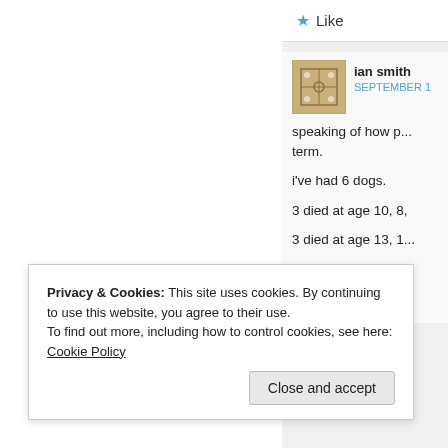Like
ian smith
SEPTEMBER 1
speaking of how p... term.

i've had 6 dogs.

3 died at age 10, 8,

3 died at age 13, 1...

the first 3 were ad...

the second 3 were...
Privacy & Cookies: This site uses cookies. By continuing to use this website, you agree to their use.
To find out more, including how to control cookies, see here: Cookie Policy
Close and accept